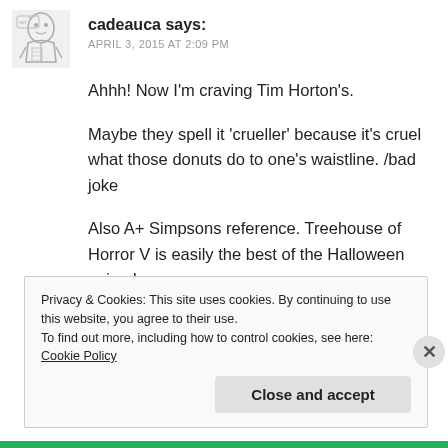[Figure (illustration): Black and white cartoon avatar of a man holding papers]
cadeauca says:
APRIL 3, 2015 AT 2:09 PM
Ahhh! Now I'm craving Tim Horton's.
Maybe they spell it 'crueller' because it's cruel what those donuts do to one's waistline. /bad joke
Also A+ Simpsons reference. Treehouse of Horror V is easily the best of the Halloween episodes.
★ Liked by 1 person
REPLY
Privacy & Cookies: This site uses cookies. By continuing to use this website, you agree to their use. To find out more, including how to control cookies, see here: Cookie Policy
Close and accept